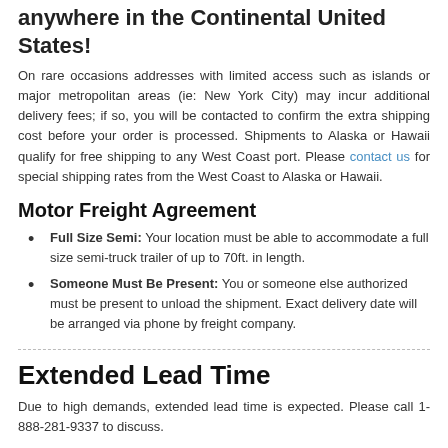anywhere in the Continental United States!
On rare occasions addresses with limited access such as islands or major metropolitan areas (ie: New York City) may incur additional delivery fees; if so, you will be contacted to confirm the extra shipping cost before your order is processed. Shipments to Alaska or Hawaii qualify for free shipping to any West Coast port. Please contact us for special shipping rates from the West Coast to Alaska or Hawaii.
Motor Freight Agreement
Full Size Semi: Your location must be able to accommodate a full size semi-truck trailer of up to 70ft. in length.
Someone Must Be Present: You or someone else authorized must be present to unload the shipment. Exact delivery date will be arranged via phone by freight company.
Extended Lead Time
Due to high demands, extended lead time is expected. Please call 1-888-281-9337 to discuss.